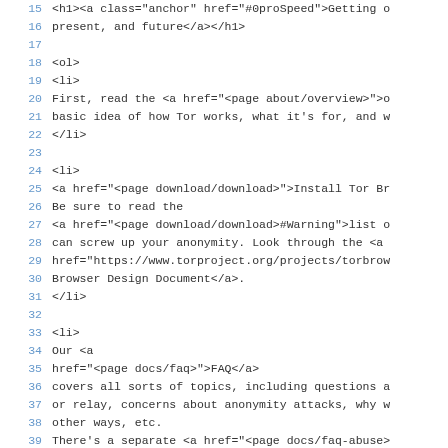Source code listing, lines 15-43, showing HTML markup for a Tor Project documentation page
Lines 15-16: <h1><a class="anchor" href="#0proSpeed">Getting u present, and future</a></h1>
Lines 18-22: <ol><li>First, read the <a href="<page about/overview>">o basic idea of how Tor works, what it's for, and w </li>
Lines 24-31: <li><a href="<page download/download>">Install Tor Br Be sure to read the <a href="<page download/download>#Warning">list o can screw up your anonymity. Look through the <a href="https://www.torproject.org/projects/torbrow Browser Design Document</a>. </li>
Lines 33-42+: <li>Our <a href="<page docs/faq>">FAQ</a> covers all sorts of topics, including questions a or relay, concerns about anonymity attacks, why w other ways, etc. There's a separate <a href="<page docs/faq-abuse> common questions from or for relay operators. The <a href="<page eff/tor-legal-faq>">Tor Legal EFF lawyers, and aims to give you an overview of that arise from The Tor Project in the US.